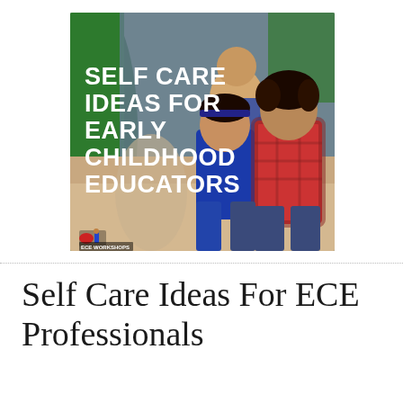[Figure (photo): A classroom photo showing young children (a girl in blue and a boy in a plaid shirt) sitting on the floor, smiling, with an adult in green visible on the left edge. Bold white text overlaid reads 'SELF CARE IDEAS FOR EARLY CHILDHOOD EDUCATORS'. An ECE Workshops logo appears at the bottom left of the image.]
Self Care Ideas For ECE Professionals